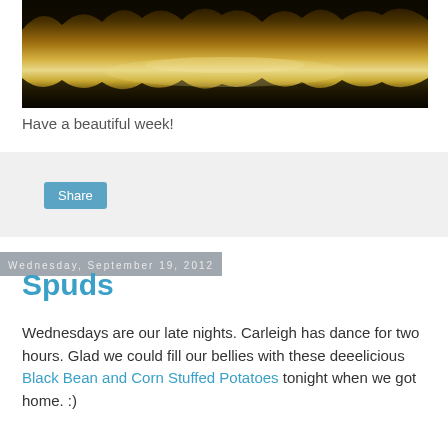[Figure (photo): Landscape photo with dark silhouettes of trees reflected in water, black background, warm golden tones in center]
Have a beautiful week!
[Figure (other): Share button widget on light gray background]
Wednesday, September 19, 2012
Spuds
Wednesdays are our late nights. Carleigh has dance for two hours. Glad we could fill our bellies with these deeelicious Black Bean and Corn Stuffed Potatoes tonight when we got home. :)